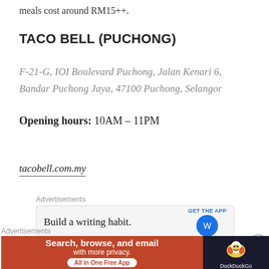meals cost around RM15++.
TACO BELL (PUCHONG)
F-21-G, IOI Boulevard Puchong, Jalan Kenari 6, Bandar Puchong Jaya, 47100 Puchong, Selangor
Opening hours: 10AM – 11PM
tacobell.com.my
Advertisements
[Figure (other): Advertisement banner: Build a writing habit. GET THE APP with circular icon]
Advertisements
[Figure (other): DuckDuckGo advertisement: Search, browse, and email with more privacy. All in One Free App]